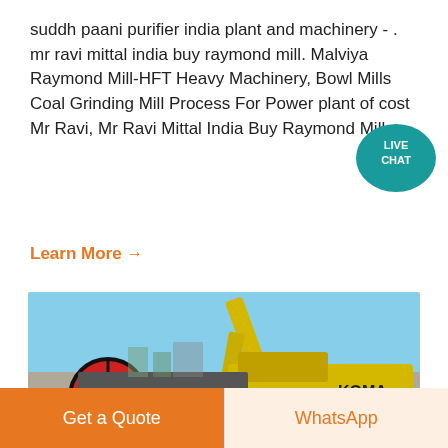suddh paani purifier india plant and machinery - . mr ravi mittal india buy raymond mill. Malviya Raymond Mill-HFT Heavy Machinery, Bowl Mills Coal Grinding Mill Process For Power plant of cost Mr Ravi, Mr Ravi Mittal India Buy Raymond Mill ....
Learn More →
[Figure (photo): Outdoor industrial site with a yellow Komatsu PC 300 excavator and heavy grinding/crushing machinery including a large red and black jaw crusher flywheel, under a clear blue sky.]
Get a Quote
WhatsApp